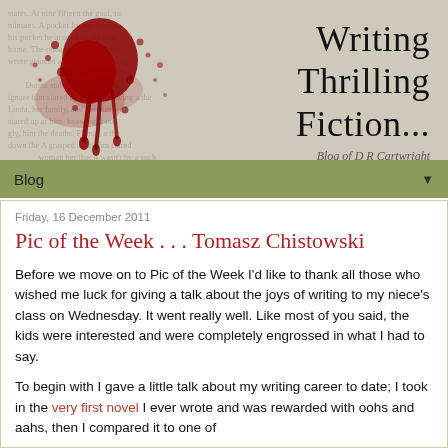[Figure (illustration): Blog header banner with bloodstained book/hands image on left and 'Writing Thrilling Fiction...' title text on right, with subtitle 'Blog of D R Cartwright']
Blog ▼
Friday, 16 December 2011
Pic of the Week . . . Tomasz Chistowski
Before we move on to Pic of the Week I'd like to thank all those who wished me luck for giving a talk about the joys of writing to my niece's class on Wednesday. It went really well. Like most of you said, the kids were interested and were completely engrossed in what I had to say.
To begin with I gave a little talk about my writing career to date; I took in the very first novel I ever wrote and was rewarded with oohs and aahs, then I compared it to one of